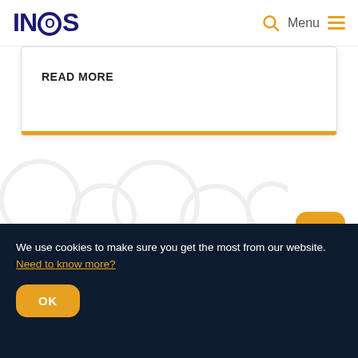INEOS
READ MORE
[Figure (illustration): Faint decorative circles pattern in the background]
[Figure (other): TOP button - orange rounded square with upward arrow and TOP label]
We use cookies to make sure you get the most from our website. Need to know more?
OK